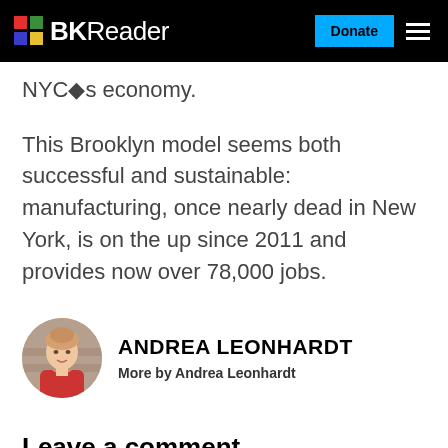BKReader | Donate
NYC◆s economy.
This Brooklyn model seems both successful and sustainable: manufacturing, once nearly dead in New York, is on the up since 2011 and provides now over 78,000 jobs.
[Figure (photo): Circular headshot photo of Andrea Leonhardt, a woman with blonde upswept hair wearing a red floral top, outdoors with a brick wall in the background.]
ANDREA LEONHARDT
More by Andrea Leonhardt
Leave a comment